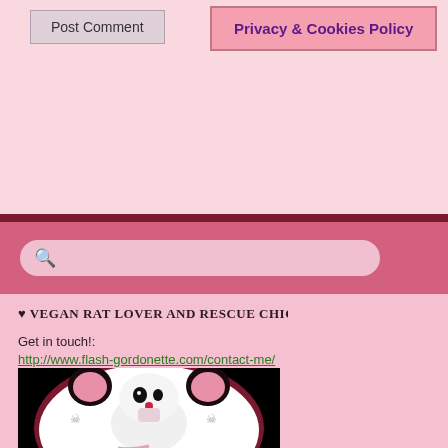Post Comment
Privacy & Cookies Policy
♥ VEGAN RAT LOVER AND RESCUE CHICKEN ENTHUSIAST ♥
Get in touch!:
http://www.flash-gordonette.com/contact-me/
[Figure (illustration): Cartoon white rat with large pink ears holding a small cupcake with red cherry, surrounded by skull-and-crossbones motifs, inside a dark oval on black background]